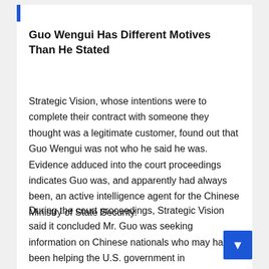Guo Wengui Has Different Motives Than He Stated
Strategic Vision, whose intentions were to complete their contract with someone they thought was a legitimate customer, found out that Guo Wengui was not who he said he was. Evidence adduced into the court proceedings indicates Guo was, and apparently had always been, an active intelligence agent for the Chinese Ministry of State Security.
During the court proceedings, Strategic Vision said it concluded Mr. Guo was seeking information on Chinese nationals who may have been helping the U.S. government in